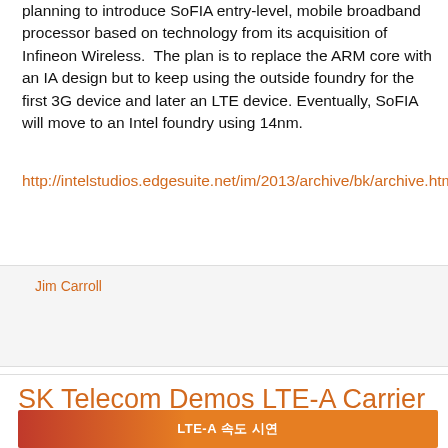planning to introduce SoFIA entry-level, mobile broadband processor based on technology from its acquisition of Infineon Wireless. The plan is to replace the ARM core with an IA design but to keep using the outside foundry for the first 3G device and later an LTE device. Eventually, SoFIA will move to an Intel foundry using 14nm.
http://intelstudios.edgesuite.net/im/2013/archive/bk/archive.html
Jim Carroll
Share
SK Telecom Demos LTE-A Carrier Aggregation of 1.8GHz + 800MHz Bands
[Figure (photo): Partial view of a banner or sign in Korean with LTE-A branding, orange and red colors]